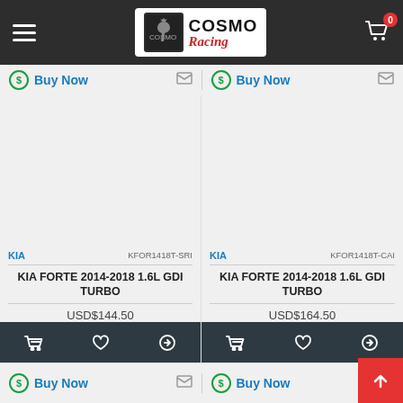Cosmo Racing - Navigation header with logo and cart
Buy Now | Email - top bar left
Buy Now | Email - top bar right
[Figure (screenshot): Product image area for KIA FORTE 2014-2018 1.6L GDI TURBO left (empty/loading)]
KIA   KFOR1418T-SRI
KIA FORTE 2014-2018 1.6L GDI TURBO
USD$144.50
[Figure (screenshot): Product image area for KIA FORTE 2014-2018 1.6L GDI TURBO right (empty/loading)]
KIA   KFOR1418T-CAI
KIA FORTE 2014-2018 1.6L GDI TURBO
USD$164.50
Buy Now | Email - bottom bar left
Buy Now | Email - bottom bar right